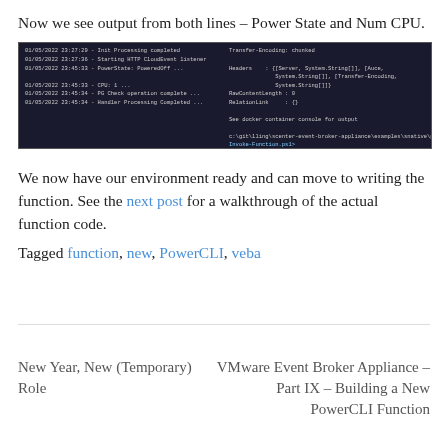Now we see output from both lines – Power State and Num CPU.
[Figure (screenshot): Terminal/console output showing two panes: left pane shows timestamped log lines including Init Processing completed, Starting HTTP CloudEvent listener, PowerState: PoweredOff, CPU: 1, PG Check operation complete, Handler Processing Completed; right pane shows HTTP response headers including Transfer-Encoding: chunked, Headers with Server/System.String arrays, RawContentLength: 0, RelationLink: {}, See docker container console for output, and a git command path.]
We now have our environment ready and can move to writing the function. See the next post for a walkthrough of the actual function code.
Tagged function, new, PowerCLI, veba
New Year, New (Temporary) Role
VMware Event Broker Appliance – Part IX – Building a New PowerCLI Function